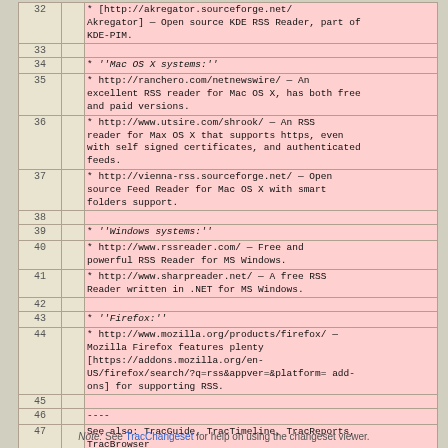| Line |  | Content |
| --- | --- | --- |
| 32 |  |     * [http://akregator.sourceforge.net/ Akregator] — Open source KDE RSS Reader, part of KDE-PIM. |
| 33 |  |  |
| 34 |  |   * ''Mac OS X systems:'' |
| 35 |  |     * http://ranchero.com/netnewswire/ — An excellent RSS reader for Mac OS X, has both free and paid versions. |
| 36 |  |     * http://www.utsire.com/shrook/ — An RSS reader for Max OS X that supports https, even with self signed certificates, and authenticated feeds. |
| 37 |  |     * http://vienna-rss.sourceforge.net/ — Open source Feed Reader for Mac OS X with smart folders support. |
| 38 |  |  |
| 39 |  |   * ''Windows systems:'' |
| 40 |  |     * http://www.rssreader.com/ — Free and powerful RSS Reader for MS Windows. |
| 41 |  |     * http://www.sharpreader.net/ — A free RSS Reader written in .NET for MS Windows. |
| 42 |  |  |
| 43 |  |   * ''Firefox:'' |
| 44 |  |     * http://www.mozilla.org/products/firefox/ — Mozilla Firefox features plenty [https://addons.mozilla.org/en-US/firefox/search/?q=rss&appver=&platform= add-ons] for supporting RSS. |
| 45 |  |  |
| 46 |  | ---- |
| 47 |  | See also: TracGuide, TracTimeline, TracReports, TracBrowser |
Note: See TracChangeset for help on using the changeset viewer.